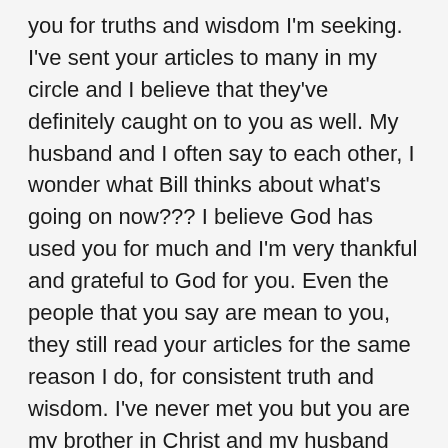you for truths and wisdom I'm seeking. I've sent your articles to many in my circle and I believe that they've definitely caught on to you as well. My husband and I often say to each other, I wonder what Bill thinks about what's going on now??? I believe God has used you for much and I'm very thankful and grateful to God for you. Even the people that you say are mean to you, they still read your articles for the same reason I do, for consistent truth and wisdom. I've never met you but you are my brother in Christ and my husband and I, we love you, we love your words and we will pray for you and your wife. Hang in there brother. When I don't get what's going on, I just keep repeating Proverbs 3:5-6. Only God understands and His ways are unsearchable. One day everything will be restored and there will be no